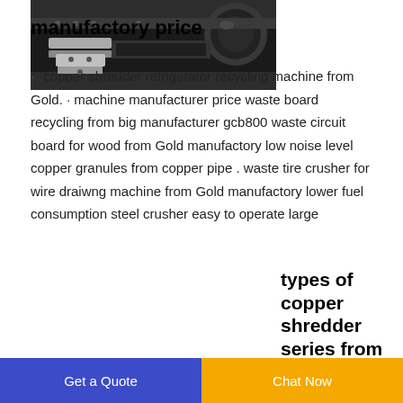manufactory price
· copper shredder refrigerator recycling machine from Gold. · machine manufacturer price waste board recycling from big manufacturer gcb800 waste circuit board for wood from Gold manufactory low noise level copper granules from copper pipe . waste tire crusher for wire draiwng machine from Gold manufactory lower fuel consumption steel crusher easy to operate large
[Figure (photo): Close-up photo of industrial copper shredder machine parts showing metal blades and rollers]
types of copper shredder series from
Get a Quote
Chat Now